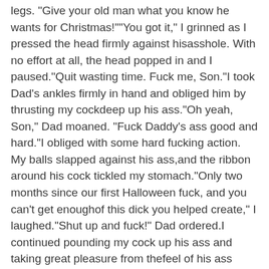legs. "Give your old man what you know he wants for Christmas!""You got it," I grinned as I pressed the head firmly against hisasshole. With no effort at all, the head popped in and I paused."Quit wasting time. Fuck me, Son."I took Dad's ankles firmly in hand and obliged him by thrusting my cockdeep up his ass."Oh yeah, Son," Dad moaned. "Fuck Daddy's ass good and hard."I obliged with some hard fucking action. My balls slapped against his ass,and the ribbon around his cock tickled my stomach."Only two months since our first Halloween fuck, and you can't get enoughof this dick you helped create," I laughed."Shut up and fuck!" Dad ordered.I continued pounding my cock up his ass and taking great pleasure from thefeel of his ass muscles clamping firmly on my cock as it penetrated andwithdrew. Wanting to give his cock the same kind of pleasure, I took